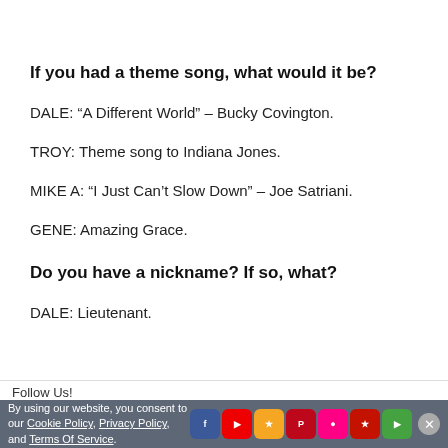If you had a theme song, what would it be?
DALE: “A Different World” – Bucky Covington.
TROY: Theme song to Indiana Jones.
MIKE A: “I Just Can’t Slow Down” – Joe Satriani.
GENE: Amazing Grace.
Do you have a nickname? If so, what?
DALE: Lieutenant.
Follow Us!
By using our website, you consent to our Cookie Policy, Privacy Policy, and Terms Of Service.